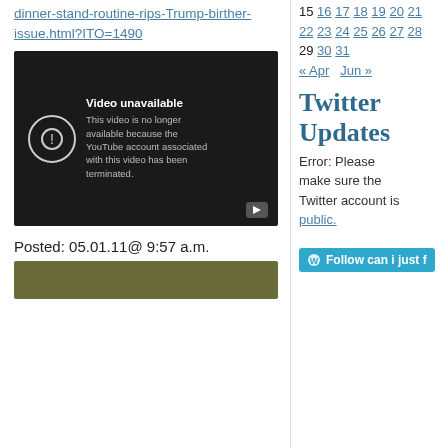dinner-stand-routine-rips-Trump-birther-issue.html?ITO=1490
[Figure (screenshot): Video unavailable message on dark background. Text reads: 'Video unavailable. This video is no longer available because the YouTube account associated with this video has been terminated.' with a circle exclamation icon and play button.]
Posted: 05.01.11@ 9:57 a.m.
[Figure (screenshot): Bottom portion of a second video thumbnail with dark olive/green background.]
15 16 17 18 19 20 21 22 23 24 25 26 27 28 29 30 31 « Apr   Jun »
Twitter Updates
Error: Please make sure the Twitter account is public.
Follow can i just f